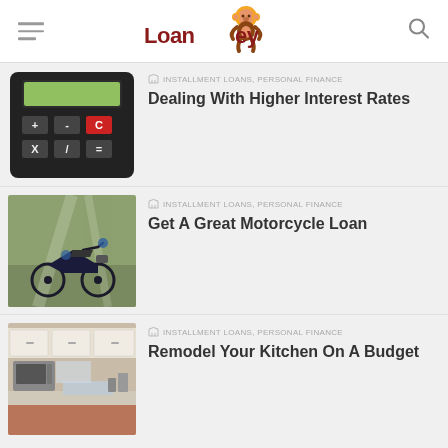LoanMonkey
[Figure (screenshot): Black calculator with green display and red C button]
INSTALLMENT LOANS, PERSONAL FINANCE
Dealing With Higher Interest Rates
[Figure (photo): Motorcycle in a misty field]
INSTALLMENT LOANS, PERSONAL FINANCE
Get A Great Motorcycle Loan
[Figure (photo): Kitchen interior with white cabinets]
INSTALLMENT LOANS, PERSONAL FINANCE
Remodel Your Kitchen On A Budget